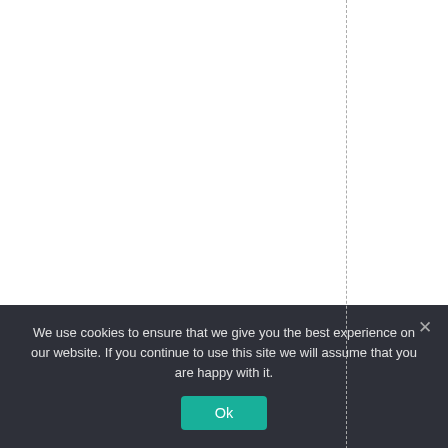dredsofspecies. Som
We use cookies to ensure that we give you the best experience on our website. If you continue to use this site we will assume that you are happy with it.